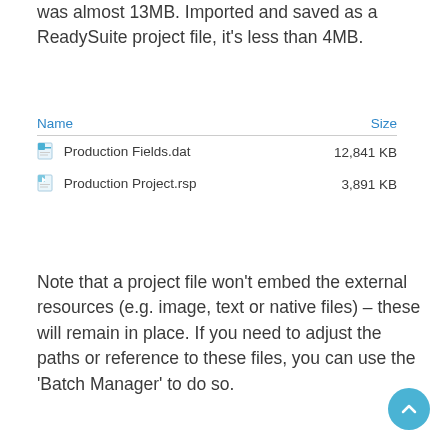was almost 13MB. Imported and saved as a ReadySuite project file, it's less than 4MB.
[Figure (screenshot): Windows file explorer listing showing two files: 'Production Fields.dat' at 12,841 KB and 'Production Project.rsp' at 3,891 KB, with Name and Size column headers.]
Note that a project file won't embed the external resources (e.g. image, text or native files) – these will remain in place. If you need to adjust the paths or reference to these files, you can use the 'Batch Manager' to do so.